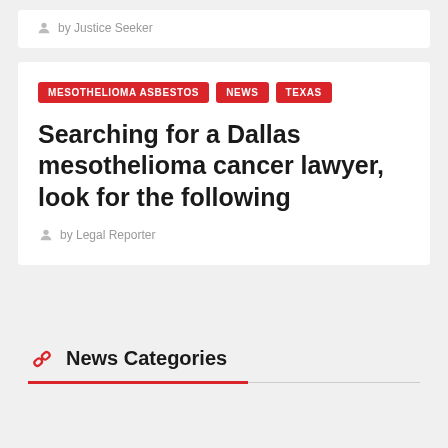by Justice Seeker
Searching for a Dallas mesothelioma cancer lawyer, look for the following
by Legal Reporter
News Categories